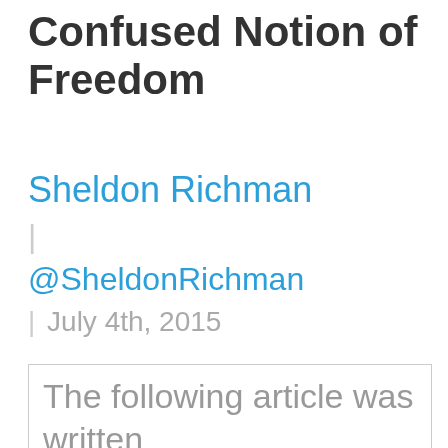Confused Notion of Freedom
Sheldon Richman
| @SheldonRichman
| July 4th, 2015
The following article was written